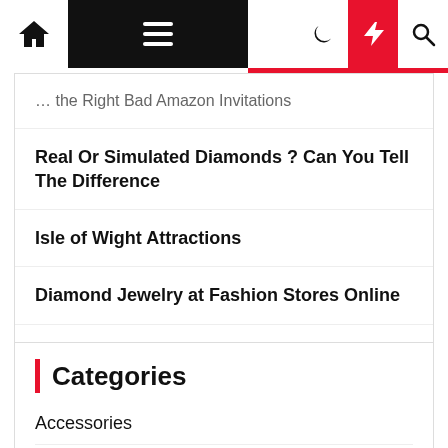Navigation bar with home, menu, moon, lightning, and search icons
… the Right Bad Amazon Invitations
Real Or Simulated Diamonds ? Can You Tell The Difference
Isle of Wight Attractions
Diamond Jewelry at Fashion Stores Online
How to Polish Concrete Floors and Countertops with Diamond Hand Pads for Stone?
Categories
Accessories
Jewelry